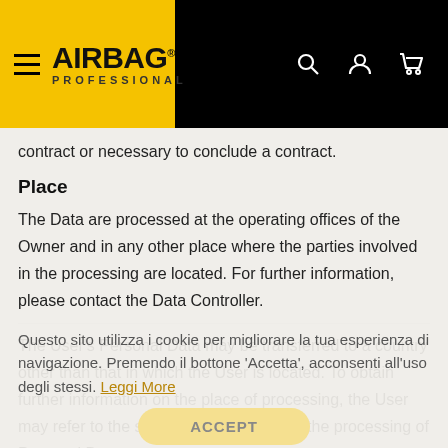AiRBAG PROFESSIONAL — navigation header
contract or necessary to conclude a contract.
Place
The Data are processed at the operating offices of the Owner and in any other place where the parties involved in the processing are located. For further information, please contact the Data Controller.
The User's Personal Data may be transferred to a country other than that in which the User is located. To obtain further information on the place of processing, the User may refer to the section on the details of the processing of Personal Data.
Questo sito utilizza i cookie per migliorare la tua esperienza di navigazione. Premendo il bottone 'Accetta', acconsenti all'uso degli stessi. Leggi More
ACCEPT
You have the right to obtain information about the legal